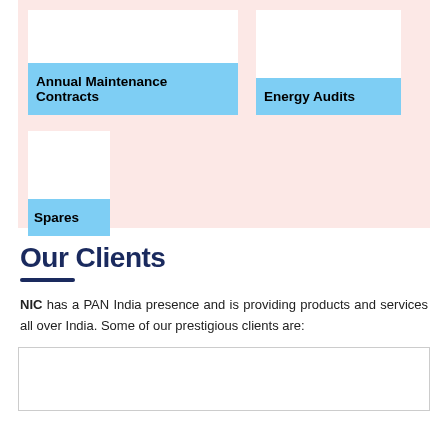[Figure (infographic): Pink/salmon background section showing three service cards: 'Annual Maintenance Contracts' (blue label on white card), 'Energy Audits' (blue label on white card), and 'Spares' (blue label on white card). Cards arranged in two rows.]
Our Clients
NIC has a PAN India presence and is providing products and services all over India. Some of our prestigious clients are:
[Figure (other): White box area, partially visible client logos section at bottom of page]